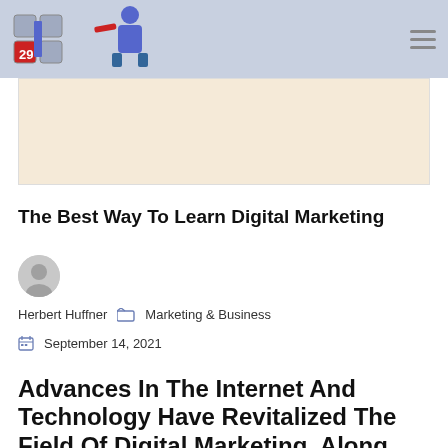[Figure (illustration): Beige/cream colored advertisement banner area]
The Best Way To Learn Digital Marketing
Herbert Huffner   Marketing & Business
September 14, 2021
Advances In The Internet And Technology Have Revitalized The Field Of Digital Marketing. Along With